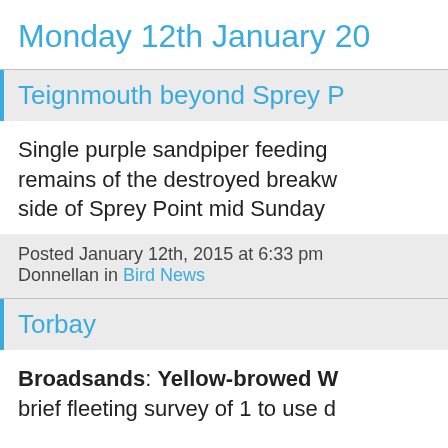Monday 12th January 20
Teignmouth beyond Sprey P
Single purple sandpiper feeding remains of the destroyed breakw side of Sprey Point mid Sunday
Posted January 12th, 2015 at 6:33 pm Donnellan in Bird News
Torbay
Broadsands: Yellow-browed W brief fleeting survey of 1 to use d